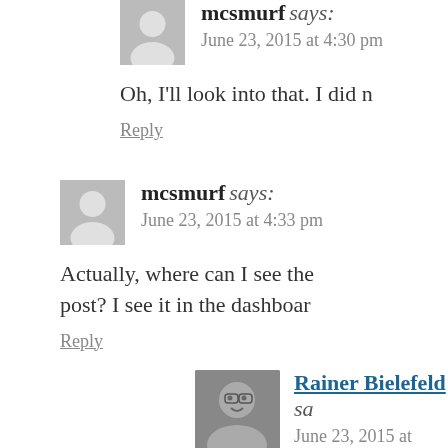mcsmurf says: June 23, 2015 at 4:30 pm
Oh, I'll look into that. I did n
Reply
mcsmurf says: June 23, 2015 at 4:33 pm
Actually, where can I see the post? I see it in the dashboar
Reply
Rainer Bielefeld says: June 23, 2015 at 5:05 p
> Actually, where ca I haven't a clue. I go "comments", what v